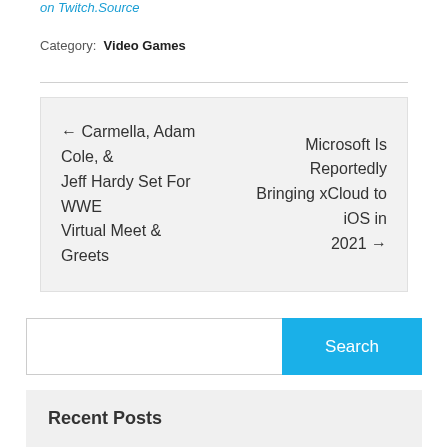on Twitch.Source
Category: Video Games
← Carmella, Adam Cole, & Jeff Hardy Set For WWE Virtual Meet & Greets
Microsoft Is Reportedly Bringing xCloud to iOS in 2021 →
Search
Recent Posts